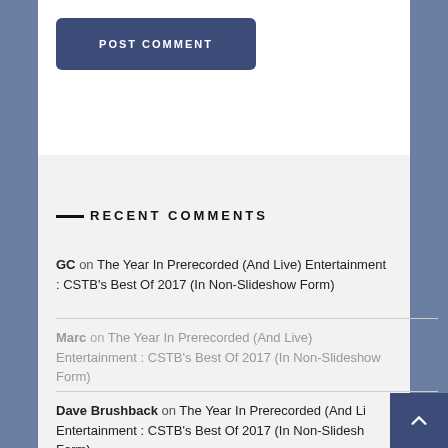POST COMMENT
RECENT COMMENTS
GC on The Year In Prerecorded (And Live) Entertainment : CSTB's Best Of 2017 (In Non-Slideshow Form)
Marc on The Year In Prerecorded (And Live) Entertainment : CSTB's Best Of 2017 (In Non-Slideshow Form)
Dave Brushback on The Year In Prerecorded (And Live) Entertainment : CSTB's Best Of 2017 (In Non-Slideshow Form)